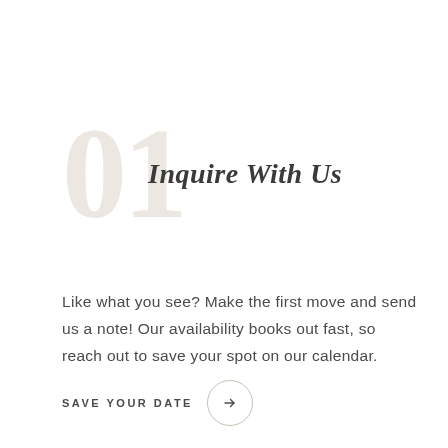01 Inquire With Us
Like what you see? Make the first move and send us a note! Our availability books out fast, so reach out to save your spot on our calendar.
SAVE YOUR DATE →